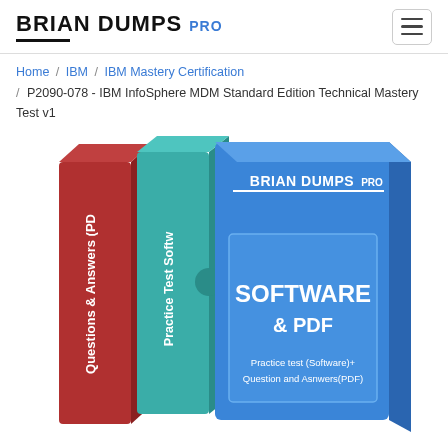BRIAN DUMPS PRO
Home / IBM / IBM Mastery Certification / P2090-078 - IBM InfoSphere MDM Standard Edition Technical Mastery Test v1
[Figure (illustration): Product box set illustration showing three stacked books/boxes. Left box is red with 'Questions & Answers (PDF)' text rotated vertically. Middle box is teal/green with 'Practice Test Software' text rotated vertically. Right/front box is blue with 'BRIAN DUMPS PRO' logo at top, a lighter blue rectangle in the middle containing 'SOFTWARE & PDF' in bold white text, and below it 'Practice test (Software)+ Question and Asnwers(PDF)' in smaller white text.]